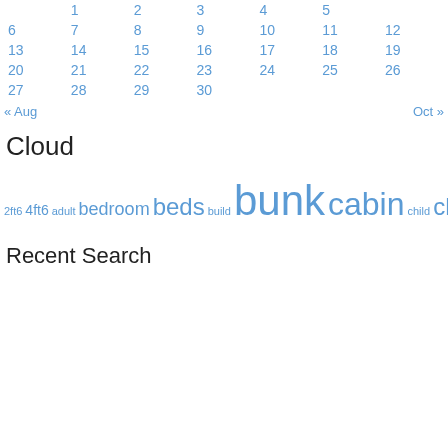| 1 | 2 | 3 | 4 | 5 |
| 6 | 7 | 8 | 9 | 10 | 11 | 12 |
| 13 | 14 | 15 | 16 | 17 | 18 | 19 |
| 20 | 21 | 22 | 23 | 24 | 25 | 26 |
| 27 | 28 | 29 | 30 |  |  |  |
« Aug    Oct »
Cloud
2ft6 4ft6 adult bedroom beds build bunk cabin child children childrens desk double drawers frame furniture girl grey high home house kids ladder loft mattress mattresses modern pine shorty single size sleeper slide small solid stairs storage treehouse triple trundle twin white wood wooden youth
Recent Search